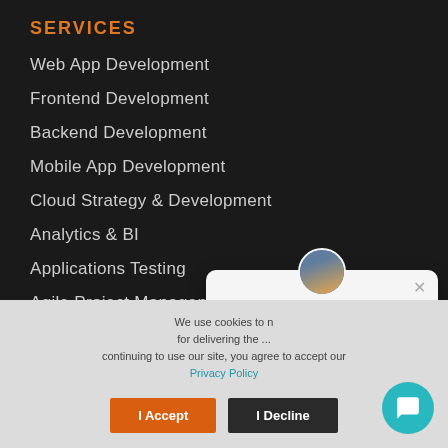SERVICES
Web App Development
Frontend Development
Backend Development
Mobile App Development
Cloud Strategy & Development
Analytics & BI
Applications Testing
Agile Project Management
HIRE DEVELOPERS
[Figure (screenshot): Chat popup with avatar photo of Jenny, text: Hi! This is Jenny and I'm here to help you. Close button (x) in top right.]
We use cookies to n... for delivering the ... continuing to use our site, you agree to accept our Privacy Policy
I Accept
I Decline